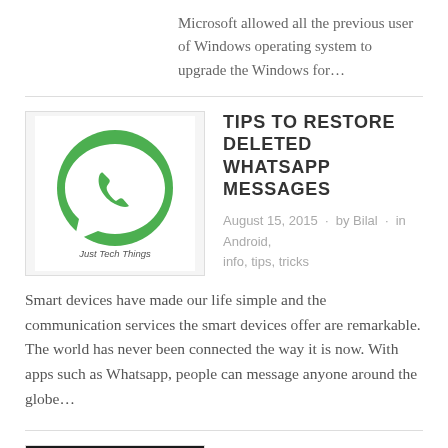Microsoft allowed all the previous user of Windows operating system to upgrade the Windows for…
[Figure (logo): Just Tech Things logo with WhatsApp icon — green speech bubble with phone symbol and 'Just Tech Things' text]
TIPS TO RESTORE DELETED WHATSAPP MESSAGES
August 15, 2015 · by Bilal · in Android, info, tips, tricks
Smart devices have made our life simple and the communication services the smart devices offer are remarkable. The world has never been connected the way it is now. With apps such as Whatsapp, people can message anyone around the globe…
[Figure (photo): Dark HTC One M8 phone against dark background with 'Just Tech Things' watermark text]
HTC ONE M8 | TIPS TO FIX DATA CONNECTION ERROR
July 27, 2015 · by Bilal · in Android, info